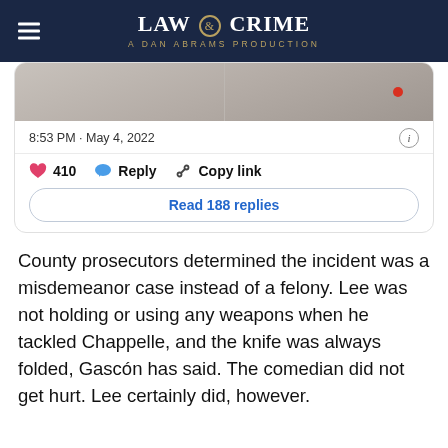LAW & CRIME — A DAN ABRAMS PRODUCTION
[Figure (screenshot): Twitter/social media post card showing a tweet image with a vertical dividing line and a red dot, timestamp '8:53 PM · May 4, 2022', like count 410, Reply button, Copy link button, and 'Read 188 replies' button.]
County prosecutors determined the incident was a misdemeanor case instead of a felony. Lee was not holding or using any weapons when he tackled Chappelle, and the knife was always folded, Gascón has said. The comedian did not get hurt. Lee certainly did, however.